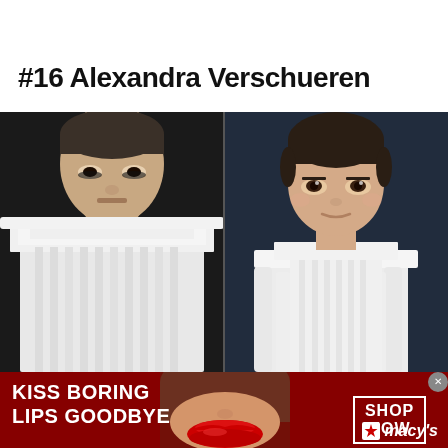#16 Alexandra Verschueren
[Figure (photo): Two side-by-side fashion photos: left shows an adult woman in a dramatic white sculptural dress/collar against dark background with intense expression; right shows a young Asian girl in a similar white sculptural collar/dress against dark blue background with calm expression.]
[Figure (photo): Advertisement banner for Macy's cosmetics: dark red background with close-up of woman's face and red lips in center. Left text reads 'KISS BORING LIPS GOODBYE'. Right side shows 'SHOP NOW' button and Macy's star logo.]